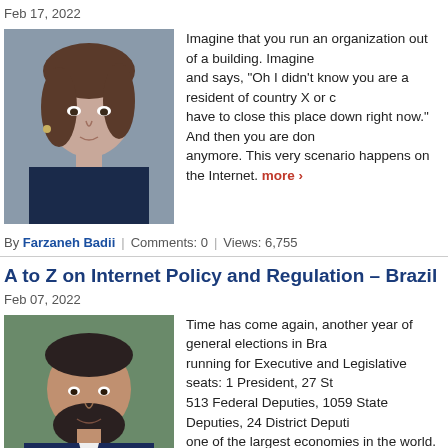Feb 17, 2022
[Figure (photo): Portrait photo of Farzaneh Badii, a woman with dark hair]
Imagine that you run an organization out of a building. Imagine and says, "Oh I didn't know you are a resident of country X or c have to close this place down right now." And then you are don anymore. This very scenario happens on the Internet. more >
By Farzaneh Badii | Comments: 0 | Views: 6,755
A to Z on Internet Policy and Regulation – Brazil 2022
Feb 07, 2022
[Figure (photo): Portrait photo of Sergio Garcia Alves, a bearded man smiling]
Time has come again, another year of general elections in Bra running for Executive and Legislative seats: 1 President, 27 St 513 Federal Deputies, 1059 State Deputies, 24 District Deputi one of the largest economies in the world. For a few lucky ind correlate with who is in power; for others, policy and regulatio
By Sergio Garcia Alves | Comments: 0 | Views: 8,447